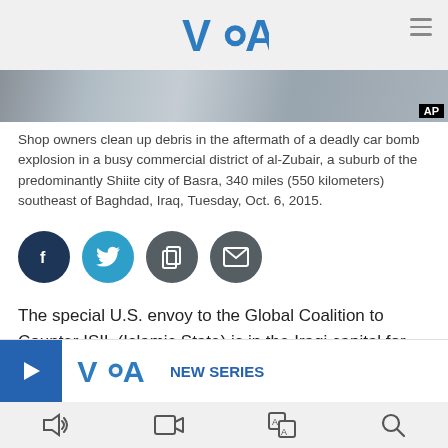VOA
[Figure (photo): Photo strip showing debris aftermath of car bomb explosion, with AP badge in lower right corner.]
Shop owners clean up debris in the aftermath of a deadly car bomb explosion in a busy commercial district of al-Zubair, a suburb of the predominantly Shiite city of Basra, 340 miles (550 kilometers) southeast of Baghdad, Iraq, Tuesday, Oct. 6, 2015.
[Figure (infographic): Social sharing buttons: Facebook, Twitter, Copy, Email]
The special U.S. envoy to the Global Coalition to Counter ISIL (Islamic State) is in the Iraqi capital for talks on the coalition's support of Iraqi-led efforts to degrade and defea...